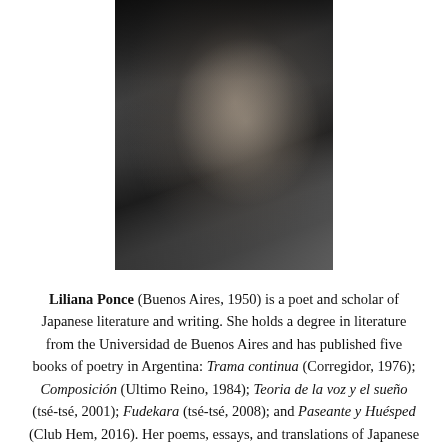[Figure (photo): Black and white portrait photograph of Liliana Ponce, showing her face and upper body in profile/three-quarter view against a dark background]
Liliana Ponce (Buenos Aires, 1950) is a poet and scholar of Japanese literature and writing. She holds a degree in literature from the Universidad de Buenos Aires and has published five books of poetry in Argentina: Trama continua (Corregidor, 1976); Composición (Ultimo Reino, 1984); Teoria de la voz y el sueño (tsé-tsé, 2001); Fudekara (tsé-tsé, 2008); and Paseante y Huésped (Club Hem, 2016). Her poems, essays, and translations of Japanese poetry have appeared widely in journals and